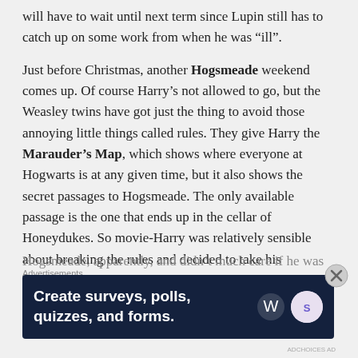will have to wait until next term since Lupin still has to catch up on some work from when he was “ill”.
Just before Christmas, another Hogsmeade weekend comes up. Of course Harry’s not allowed to go, but the Weasley twins have got just the thing to avoid those annoying little things called rules. They give Harry the Marauder’s Map, which shows where everyone at Hogwarts is at any given time, but it also shows the secret passages to Hogsmeade. The only available passage is the one that ends up in the cellar of Honeydukes. So movie-Harry was relatively sensible about breaking the rules and decided to take his invisibility cloak. Book-Harry, though, didn’t much care that he wasn’t allowed to go to
Hogsmeade, apparently, and didn’t much care if he was
Advertisements
[Figure (other): Dark blue ad banner: 'Create surveys, polls, quizzes, and forms.' with WordPress and SurveyMonkey logos]